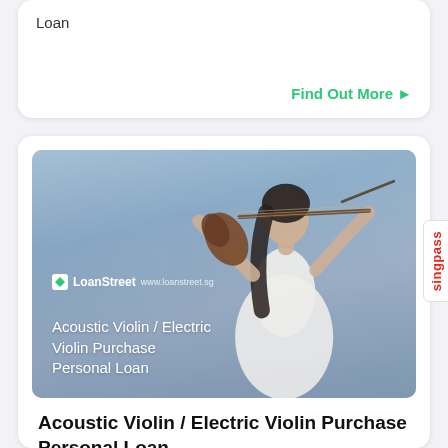Loan
Find Out More ▶
[Figure (photo): A young woman in a white dress playing a violin against a sky background, with LoanStreet branding and text 'Acoustic Violin / Electric Violin Purchase Personal Loan' overlaid on the image]
Acoustic Violin / Electric Violin Purchase Personal Loan
Acoustic Violin / Electric Violin Purchase Personal